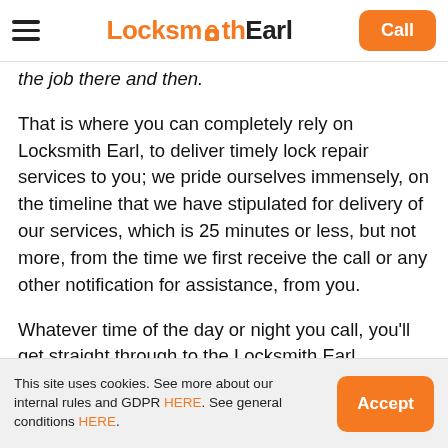Locksmith Earl | Call
the job there and then.
That is where you can completely rely on Locksmith Earl, to deliver timely lock repair services to you; we pride ourselves immensely, on the timeline that we have stipulated for delivery of our services, which is 25 minutes or less, but not more, from the time we first receive the call or any other notification for assistance, from you.
Whatever time of the day or night you call, you'll get straight through to the Locksmith Earl customer support team you'll get an immediate quote for lock
This site uses cookies. See more about our internal rules and GDPR HERE. See general conditions HERE. | Accept